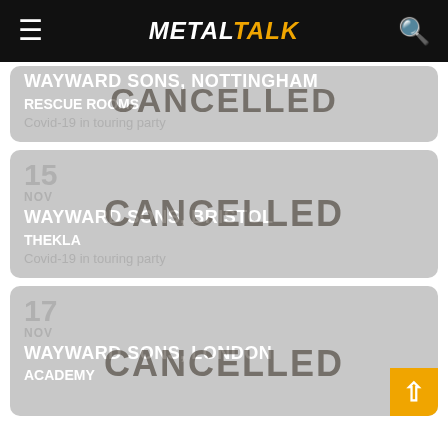METALTALK
WAYWARD SONS, NOTTINGHAM | RESCUE ROOMS | Covid-19 in touring party | CANCELLED
15 NOV | WAYWARD SONS, BRISTOL | THEKLA | Covid-19 in touring party | CANCELLED
17 NOV | WAYWARD SONS, LONDON | ACADEMY | CANCELLED